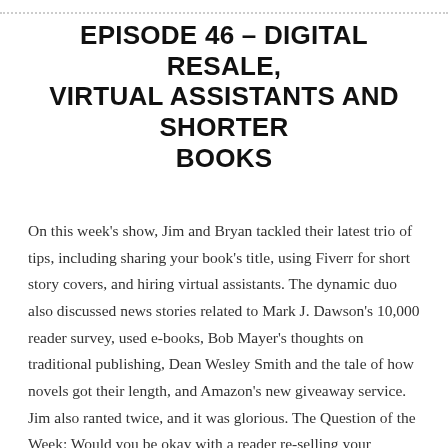EPISODE 46 – DIGITAL RESALE, VIRTUAL ASSISTANTS AND SHORTER BOOKS
On this week's show, Jim and Bryan tackled their latest trio of tips, including sharing your book's title, using Fiverr for short story covers, and hiring virtual assistants. The dynamic duo also discussed news stories related to Mark J. Dawson's 10,000 reader survey, used e-books, Bob Mayer's thoughts on traditional publishing, Dean Wesley Smith and the tale of how novels got their length, and Amazon's new giveaway service. Jim also ranted twice, and it was glorious. The Question of the Week: Would you be okay with a reader re-selling your ebooks? Why or why not?